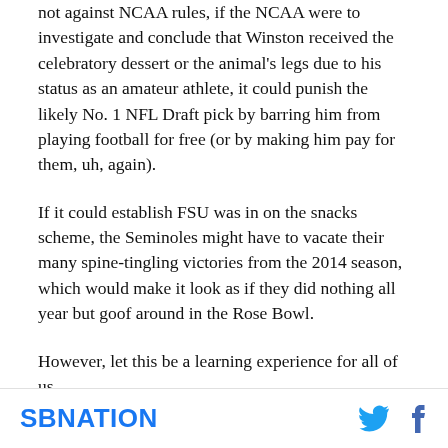not against NCAA rules, if the NCAA were to investigate and conclude that Winston received the celebratory dessert or the animal's legs due to his status as an amateur athlete, it could punish the likely No. 1 NFL Draft pick by barring him from playing football for free (or by making him pay for them, uh, again).
If it could establish FSU was in on the snacks scheme, the Seminoles might have to vacate their many spine-tingling victories from the 2014 season, which would make it look as if they did nothing all year but goof around in the Rose Bowl.
However, let this be a learning experience for all of us.
SBNATION